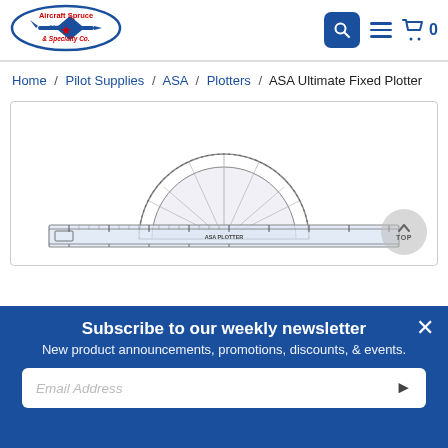[Figure (logo): Aircraft Spruce & Specialty Co. logo with airplane silhouette, red and blue text, 'Since 1965']
Search | Menu | Cart 0
Home / Pilot Supplies / ASA / Plotters / ASA Ultimate Fixed Plotter
[Figure (photo): ASA Ultimate Fixed Plotter — a transparent plastic navigation plotter/protractor ruler with degree markings and ruler scales]
Subscribe to our weekly newsletter
New product announcements, promotions, discounts, & events.
Email Address